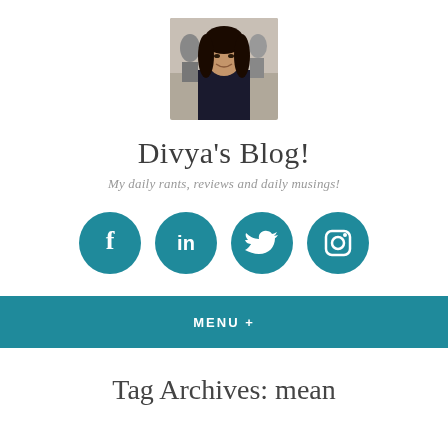[Figure (photo): Profile photo of a woman with dark hair, wearing a black top, smiling, taken in a restaurant or cafe setting]
Divya's Blog!
My daily rants, reviews and daily musings!
[Figure (illustration): Four teal circular social media icon buttons: Facebook, LinkedIn, Twitter, Instagram]
MENU +
Tag Archives: mean